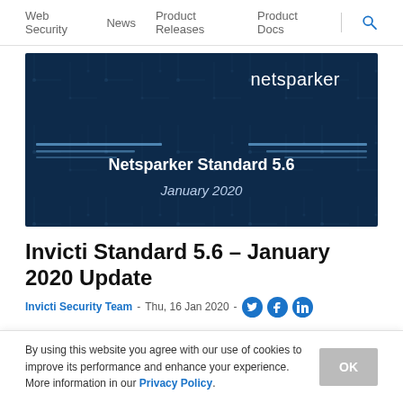Web Security  News  Product Releases  Product Docs
[Figure (illustration): Dark blue banner with netsparker logo top right, decorative circuit lines, and centered text 'Netsparker Standard 5.6 / January 2020']
Invicti Standard 5.6 – January 2020 Update
Invicti Security Team  -  Thu, 16 Jan 2020  -  [Twitter] [Facebook] [LinkedIn]
By using this website you agree with our use of cookies to improve its performance and enhance your experience. More information in our Privacy Policy.